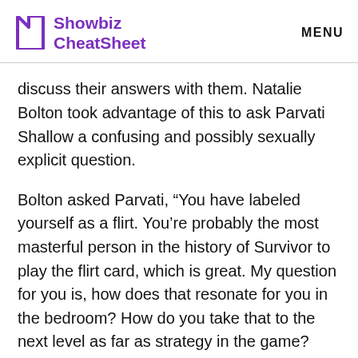Showbiz CheatSheet | MENU
discuss their answers with them. Natalie Bolton took advantage of this to ask Parvati Shallow a confusing and possibly sexually explicit question.
Bolton asked Parvati, “You have labeled yourself as a flirt. You’re probably the most masterful person in the history of Survivor to play the flirt card, which is great. My question for you is, how does that resonate for you in the bedroom? How do you take that to the next level as far as strategy in the game? How does that translate your layers of being?”